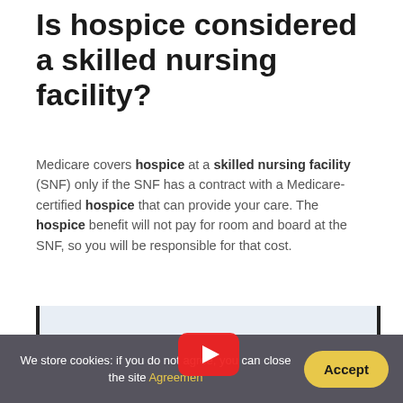Is hospice considered a skilled nursing facility?
Medicare covers hospice at a skilled nursing facility (SNF) only if the SNF has a contract with a Medicare-certified hospice that can provide your care. The hospice benefit will not pay for room and board at the SNF, so you will be responsible for that cost.
[Figure (screenshot): YouTube video thumbnail showing 'Hospice & Palliative Care of Westchester' with a YouTube play button overlay]
We store cookies: if you do not agree, you can close the site Agreement   Accept